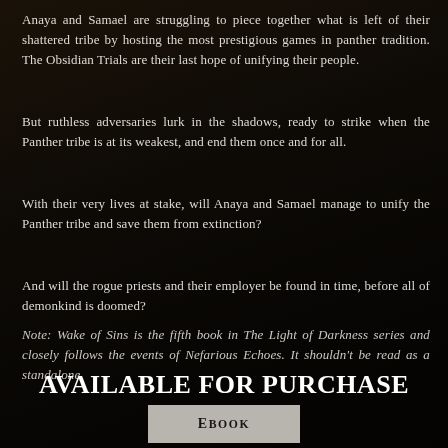Anaya and Samael are struggling to piece together what is left of their shattered tribe by hosting the most prestigious games in panther tradition. The Obsidian Trials are their last hope of unifying their people.
But ruthless adversaries lurk in the shadows, ready to strike when the Panther tribe is at its weakest, and end them once and for all.
With their very lives at stake, will Anaya and Samael manage to unify the Panther tribe and save them from extinction?
And will the rogue priests and their employer be found in time, before all of demonkind is doomed?
Note: Wake of Sins is the fifth book in The Light of Darkness series and closely follows the events of Nefarious Echoes. It shouldn't be read as a standalone.
AVAILABLE FOR PURCHASE HERE
EBOOK